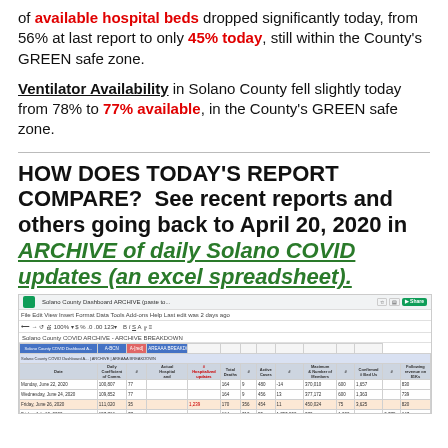of available hospital beds dropped significantly today, from 56% at last report to only 45% today, still within the County's GREEN safe zone.
Ventilator Availability in Solano County fell slightly today from 78% to 77% available, in the County's GREEN safe zone.
HOW DOES TODAY'S REPORT COMPARE?  See recent reports and others going back to April 20, 2020 in my ARCHIVE of daily Solano COVID updates (an excel spreadsheet).
[Figure (screenshot): Screenshot of a Google Sheets spreadsheet titled Solano County Dashboard ARCHIVE showing daily COVID data with multiple columns including date, cases, hospitalizations, and other metrics.]